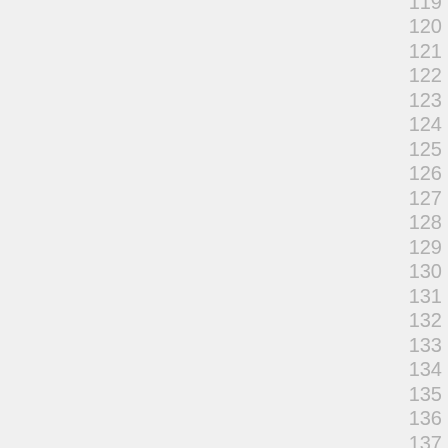119
120
121
122
123
124
125
126
127
128
129
130
131
132
133
134
135
136
137
138
139
140
141